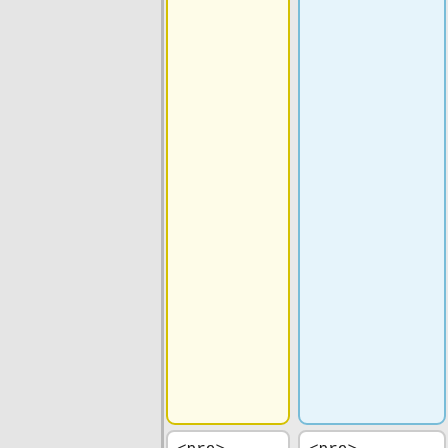terminal
open after
the ssh
tunnel is
established'
'.
example).
''Leave this
terminal
open after
the ssh
tunnel is
established'
'.
<pre>
<pre>
ssh -L
10000:localh
ost:8888
c0002
ssh -L
10000:localh
ost:8888
c0002
</pre>
</pre>
* In a new
terminal on
your client,
* In a new
terminal on
your client,